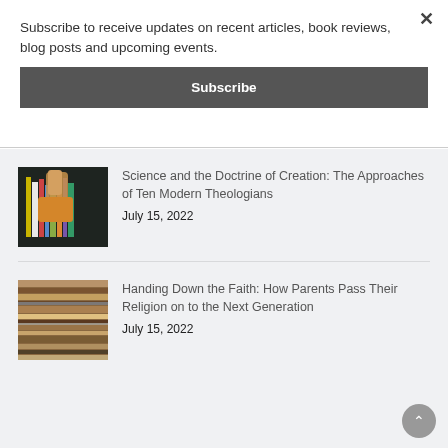Subscribe to receive updates on recent articles, book reviews, blog posts and upcoming events.
Subscribe
Science and the Doctrine of Creation: The Approaches of Ten Modern Theologians
July 15, 2022
[Figure (photo): A hand reaching for colorful books on a bookshelf against a dark background]
Handing Down the Faith: How Parents Pass Their Religion on to the Next Generation
July 15, 2022
[Figure (photo): Close-up of stacked wooden planks or book spines arranged horizontally in warm brown tones]